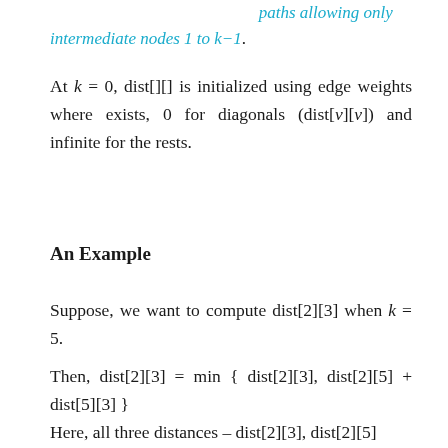dist[i][v], and dist[j][v] are all paths allowing only intermediate nodes 1 to k−1.
At k = 0, dist[][] is initialized using edge weights where exists, 0 for diagonals (dist[v][v]) and infinite for the rests.
An Example
Suppose, we want to compute dist[2][3] when k = 5.
Then, dist[2][3] = min { dist[2][3], dist[2][5] + dist[5][3] }
Here, all three distances – dist[2][3], dist[2][5]